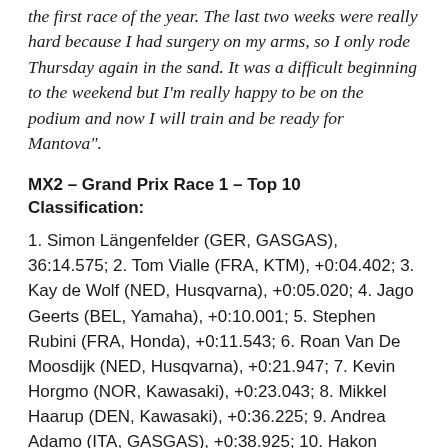the first race of the year. The last two weeks were really hard because I had surgery on my arms, so I only rode Thursday again in the sand. It was a difficult beginning to the weekend but I'm really happy to be on the podium and now I will train and be ready for Mantova".
MX2 – Grand Prix Race 1 – Top 10 Classification:
1. Simon Längenfelder (GER, GASGAS), 36:14.575; 2. Tom Vialle (FRA, KTM), +0:04.402; 3. Kay de Wolf (NED, Husqvarna), +0:05.020; 4. Jago Geerts (BEL, Yamaha), +0:10.001; 5. Stephen Rubini (FRA, Honda), +0:11.543; 6. Roan Van De Moosdijk (NED, Husqvarna), +0:21.947; 7. Kevin Horgmo (NOR, Kawasaki), +0:23.043; 8. Mikkel Haarup (DEN, Kawasaki), +0:36.225; 9. Andrea Adamo (ITA, GASGAS), +0:38.925; 10. Hakon Fredriksen (NOR,